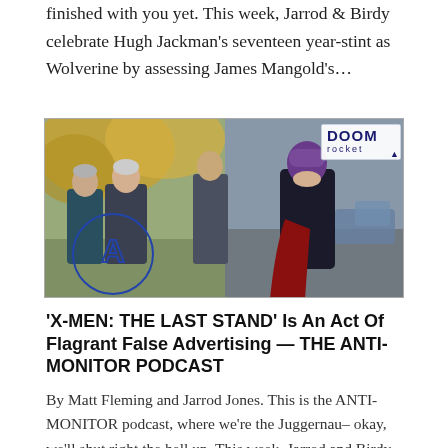finished with you yet. This week, Jarrod & Birdy celebrate Hugh Jackman's seventeen year-stint as Wolverine by assessing James Mangold's…
[Figure (photo): A movie still showing characters from X-Men: several people walking outdoors in autumn, including a man in a suit, a woman, and a helmeted villain in a dark cape with a red drape. The DoomRocket logo appears in the upper right corner of the image frame.]
'X-MEN: THE LAST STAND' Is An Act Of Flagrant False Advertising — THE ANTI-MONITOR PODCAST
By Matt Fleming and Jarrod Jones. This is the ANTI-MONITOR podcast, where we're the Juggernau– okay, we'll shut right the hell up. This week, Jarrod and Birdy have an answer to that question…